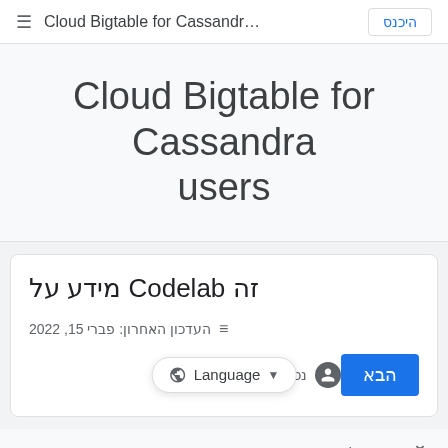Cloud Bigtable for Cassandr... היכנס
Cloud Bigtable for Cassandra users
זה Codelab מידע על
העדכון האחרון: פברי 15, 2022
נכתב על ידי the... הבא Language
דיווח על טעות